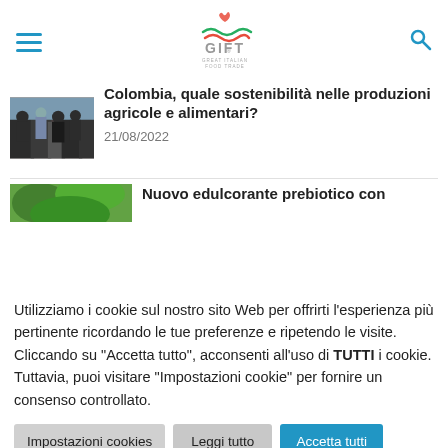[Figure (logo): GIFT - Great Italian Food Trade logo with stylized flame and wave graphic in green and red]
[Figure (photo): People in military/police gear with a civilian, outdoor scene related to Colombia agriculture article]
Colombia, quale sostenibilità nelle produzioni agricole e alimentari?
21/08/2022
[Figure (photo): Partial image - green tropical leaves, related to edulcorante prebiotico article]
Nuovo edulcorante prebiotico con
Utilizziamo i cookie sul nostro sito Web per offrirti l'esperienza più pertinente ricordando le tue preferenze e ripetendo le visite. Cliccando su "Accetta tutto", acconsenti all'uso di TUTTI i cookie. Tuttavia, puoi visitare "Impostazioni cookie" per fornire un consenso controllato.
Impostazioni cookies
Leggi tutto
Accetta tutti
Rifiuta tutti
Translate »